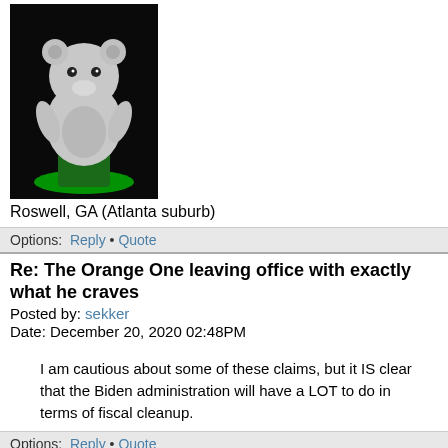[Figure (photo): Avatar image of a white teddy bear figure against a dark background with green glow at base]
Roswell, GA (Atlanta suburb)
Options:  Reply • Quote
Re: The Orange One leaving office with exactly what he craves
Posted by: sekker
Date: December 20, 2020 02:48PM
I am cautious about some of these claims, but it IS clear that the Biden administration will have a LOT to do in terms of fiscal cleanup.
Options:  Reply • Quote
Re: The Orange One leaving office with exactly what he craves
Posted by: Sarcany
Date: December 20, 2020 02:54PM
Quote
sekker
I am cautious about some of these claims,